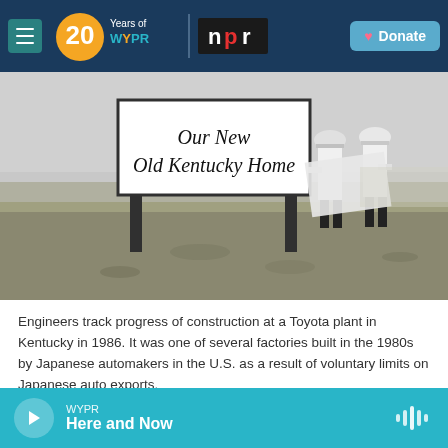WYPR 20 Years of WYPR | npr | Donate
[Figure (photo): Black and white photograph of two engineers in hard hats reviewing blueprints on a flat construction site in Kentucky, 1986. A large billboard in the background reads 'Our New Old Kentucky Home'.]
Engineers track progress of construction at a Toyota plant in Kentucky in 1986. It was one of several factories built in the 1980s by Japanese automakers in the U.S. as a result of voluntary limits on Japanese auto exports.
WYPR | Here and Now